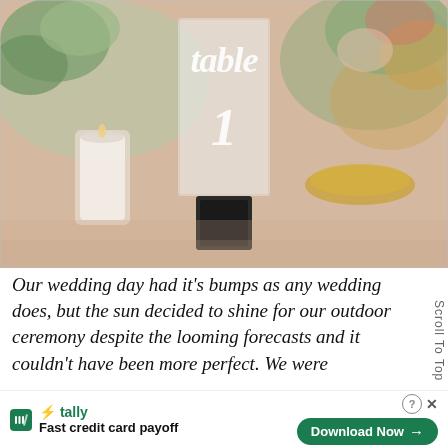[Figure (photo): A wedding table number sign made of clear acrylic with white script lettering reading 'table 1', held in a black square stand, surrounded by floral centerpieces with greenery and candles on a soft pink tablecloth.]
Our wedding day had it's bumps as any wedding does, but the sun decided to shine for our outdoor ceremony despite the looming forecasts and it couldn't have been more perfect. We were able t…
monti… st